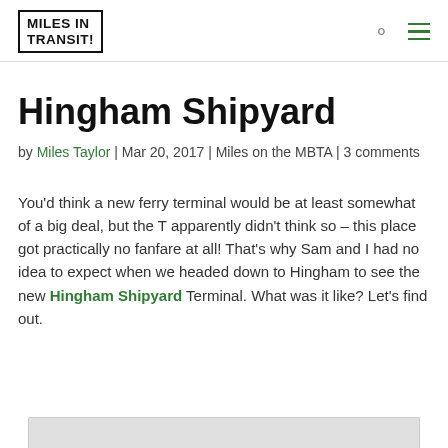MILES IN TRANSIT
Hingham Shipyard
by Miles Taylor | Mar 20, 2017 | Miles on the MBTA | 3 comments
You'd think a new ferry terminal would be at least somewhat of a big deal, but the T apparently didn't think so – this place got practically no fanfare at all! That's why Sam and I had no idea to expect when we headed down to Hingham to see the new Hingham Shipyard Terminal. What was it like? Let's find out.
[Figure (photo): Bottom edge of a photo/image stub visible at the bottom of the page]